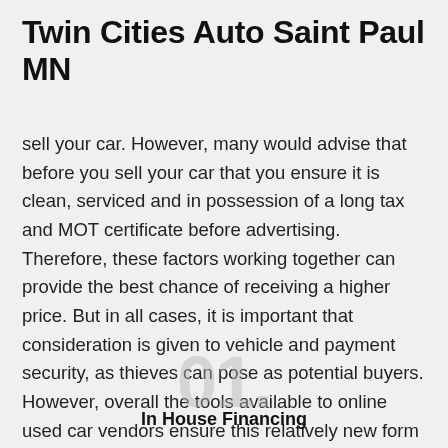Twin Cities Auto Saint Paul MN
sell your car. However, many would advise that before you sell your car that you ensure it is clean, serviced and in possession of a long tax and MOT certificate before advertising. Therefore, these factors working together can provide the best chance of receiving a higher price. But in all cases, it is important that consideration is given to vehicle and payment security, as thieves can pose as potential buyers. However, overall the tools available to online used car vendors ensure this relatively new form of trading provides a real alternative to those in the market.
In House Financing